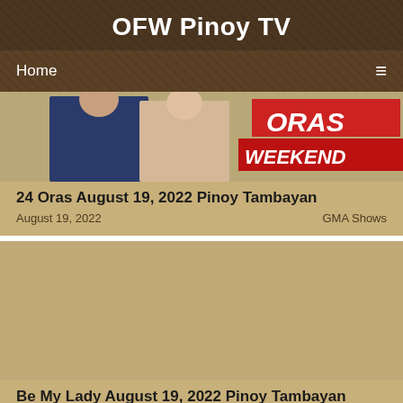OFW Pinoy TV
Home ≡
[Figure (photo): Partial image of TV show '24 Oras Weekend' with two news anchors and a red badge showing 'ORAS WEEKEND']
24 Oras August 19, 2022 Pinoy Tambayan
August 19, 2022   GMA Shows
[Figure (photo): Placeholder tan/beige image for 'Be My Lady' show thumbnail]
Be My Lady August 19, 2022 Pinoy Tambayan
August 19, 2022   ABS CBN